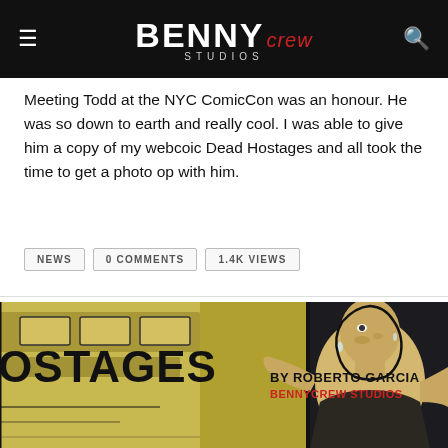BENNY crew STUDIOS
Meeting Todd at the NYC ComicCon was an honour. He was so down to earth and really cool. I was able to give him a copy of my webcoic Dead Hostages and all took the time to get a photo op with him.
NEWS
0 COMMENTS
1.4K VIEWS
[Figure (illustration): Comic book panel showing 'OSTAGES BY ROBERTO GARCIA BENNYCREW STUDIOS' with a muscular man in an action pose, drawn in a black-ink comic style with yellow/khaki background tones.]